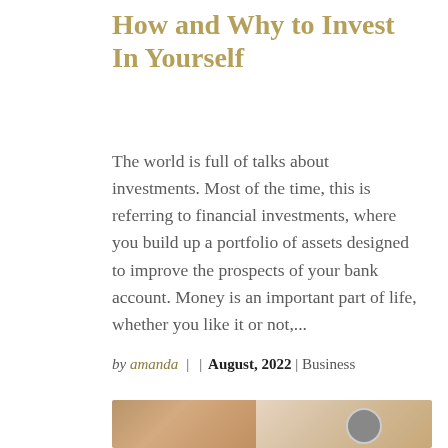How and Why to Invest In Yourself
The world is full of talks about investments. Most of the time, this is referring to financial investments, where you build up a portfolio of assets designed to improve the prospects of your bank account. Money is an important part of life, whether you like it or not,...
by amanda  |  | August, 2022 | Business
[Figure (photo): Partial photo showing people working at a desk with documents and charts, partially cropped at the bottom of the page]